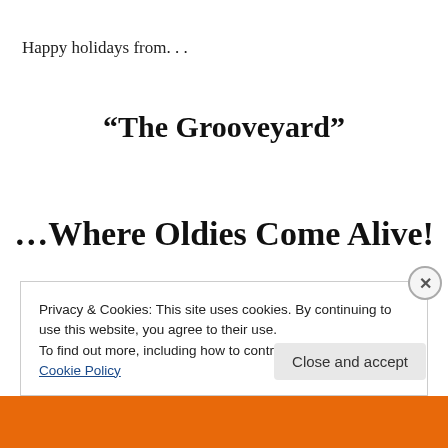Happy holidays from. . .
“The Grooveyard”
…Where Oldies Come Alive!
Privacy & Cookies: This site uses cookies. By continuing to use this website, you agree to their use.
To find out more, including how to control cookies, see here: Cookie Policy
Close and accept